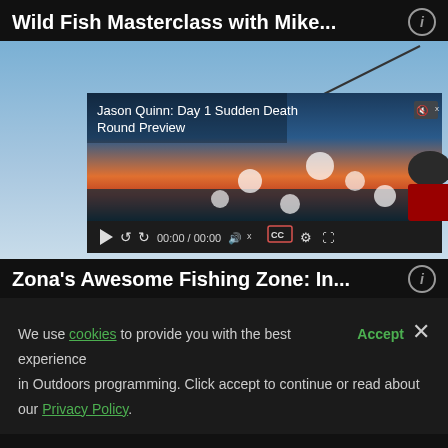Wild Fish Masterclass with Mike...
[Figure (screenshot): Video player embedded in a dark-themed streaming page. Background shows a person wearing a cap holding a fishing rod against a blue sky. An inner video player shows 'Jason Quinn: Day 1 Sudden Death Round Preview' with a sunset lake scene and a person in a red jacket. Video controls include play, rewind, fast-forward, time display 00:00 / 00:00, mute, CC, settings, and fullscreen buttons.]
Zona's Awesome Fishing Zone: In...
We use cookies to provide you with the best experience in Outdoors programming. Click accept to continue or read about our Privacy Policy.